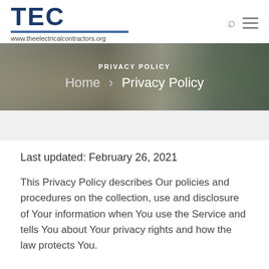[Figure (logo): TEC logo with blue text, horizontal rule, and URL www.theelectricalcontractors.org]
[Figure (screenshot): Website hero banner showing interior room background with overlay text 'Privacy Policy' and breadcrumb 'Home > Privacy Policy']
Last updated: February 26, 2021
This Privacy Policy describes Our policies and procedures on the collection, use and disclosure of Your information when You use the Service and tells You about Your privacy rights and how the law protects You.